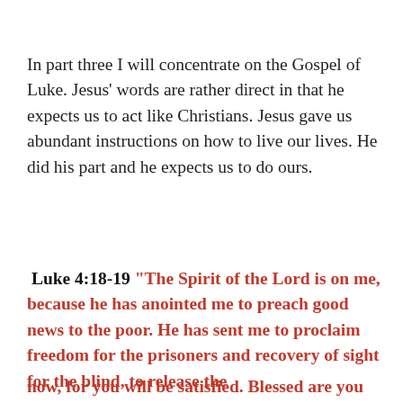In part three I will concentrate on the Gospel of Luke. Jesus' words are rather direct in that he expects us to act like Christians. Jesus gave us abundant instructions on how to live our lives. He did his part and he expects us to do ours.
Luke 4:18-19 "The Spirit of the Lord is on me, because he has anointed me to preach good news to the poor. He has sent me to proclaim freedom for the prisoners and recovery of sight for the blind, to release the
Privacy & Cookies: This site uses cookies. By continuing to use this website, you agree to their use.
To find out more, including how to control cookies, see here: Cookie Policy
[Close and accept]
now, for you will be satisfied. Blessed are you who